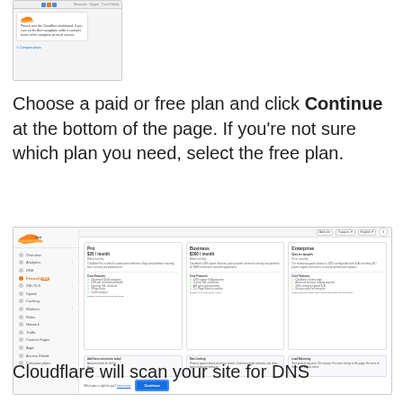[Figure (screenshot): Screenshot of a Cloudflare page with a popup/tooltip visible, showing navigation icons at the top and a popup with Cloudflare logo and text about the Cloudflare dashboard. A 'Compare plans' link is shown at the bottom.]
Choose a paid or free plan and click Continue at the bottom of the page. If you're not sure which plan you need, select the free plan.
[Figure (screenshot): Screenshot of Cloudflare dashboard showing plan selection page with Pro ($20/month), Business ($200/month), and Enterprise (Get in touch) plan cards with features listed, add-on sections, and a Continue button highlighted at the bottom.]
Cloudflare will scan your site for DNS